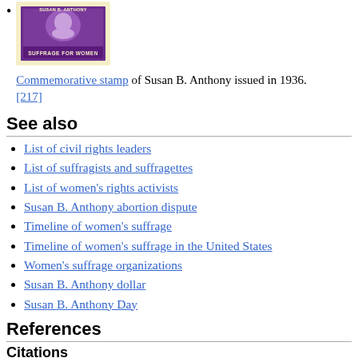[Figure (photo): Commemorative stamp of Susan B. Anthony issued in 1936, showing a purple postage stamp with text 'SUFFRAGE FOR WOMEN' and 'SUSAN B. ANTHONY']
Commemorative stamp of Susan B. Anthony issued in 1936. [217]
See also
List of civil rights leaders
List of suffragists and suffragettes
List of women's rights activists
Susan B. Anthony abortion dispute
Timeline of women's suffrage
Timeline of women's suffrage in the United States
Women's suffrage organizations
Susan B. Anthony dollar
Susan B. Anthony Day
References
Citations
^ Bly, Nellie (February 2, 1896). "Champion of Her Sex – Miss Susan B. Anthony Tells the Story of Her Remarkable